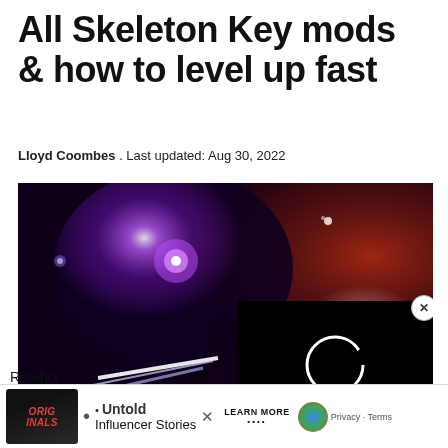All Skeleton Key mods & how to level up fast
Lloyd Coombes . Last updated: Aug 30, 2022
[Figure (screenshot): Dark fantasy game scene with a character wielding glowing purple and white energy beams in a dark environment with red atmospheric lighting. A video player overlay appears in the bottom right corner showing a loading spinner on black background.]
BUNGIE
Ready t
[Figure (other): Advertisement banner: Originals logo on dark background, bullet point, Untold Influencer Stories text, LEARN MORE button, X close button, reCAPTCHA icon, Privacy · Terms text]